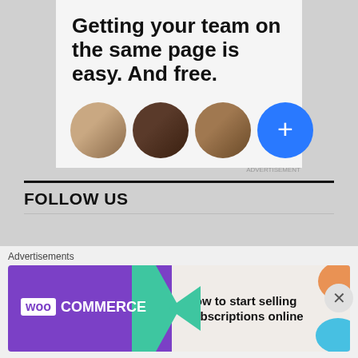[Figure (screenshot): Advertisement banner showing 'Getting your team on the same page is easy. And free.' with circular profile photos and a blue plus button]
FOLLOW US
FOLLOW TRACK2TRAINING VIA EMAIL
[Figure (screenshot): WooCommerce advertisement banner: 'How to start selling subscriptions online']